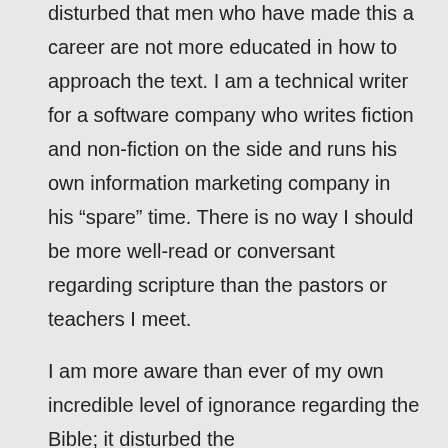disturbed that men who have made this a career are not more educated in how to approach the text. I am a technical writer for a software company who writes fiction and non-fiction on the side and runs his own information marketing company in his “spare” time. There is no way I should be more well-read or conversant regarding scripture than the pastors or teachers I meet.
I am more aware than ever of my own incredible level of ignorance regarding the Bible; it disturbed the